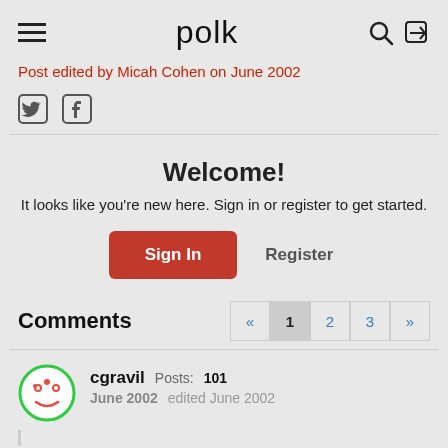polk
Post edited by Micah Cohen on June 2002
[Figure (screenshot): Twitter and Facebook social share icons]
Welcome!
It looks like you're new here. Sign in or register to get started.
Sign In   Register
Comments
cgravil  Posts: 101  June 2002  edited June 2002